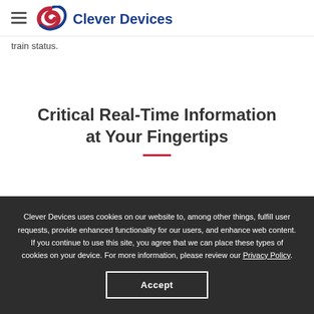Clever Devices
train status.
Critical Real-Time Information at Your Fingertips
Clever Devices uses cookies on our website to, among other things, fulfill user requests, provide enhanced functionality for our users, and enhance web content. If you continue to use this site, you agree that we can place these types of cookies on your device. For more information, please review our Privacy Policy.
Accept